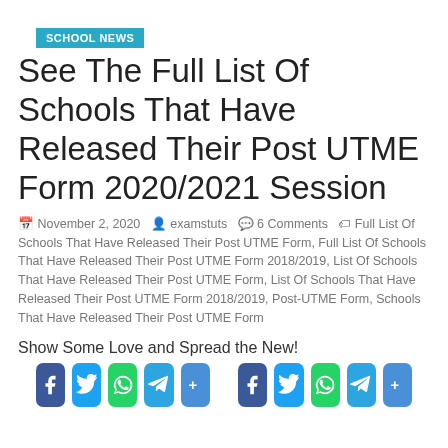SCHOOL NEWS
See The Full List Of Schools That Have Released Their Post UTME Form 2020/2021 Session
November 2, 2020  examstuts  6 Comments  Full List Of Schools That Have Released Their Post UTME Form, Full List Of Schools That Have Released Their Post UTME Form 2018/2019, List Of Schools That Have Released Their Post UTME Form, List Of Schools That Have Released Their Post UTME Form 2018/2019, Post-UTME Form, Schools That Have Released Their Post UTME Form
Show Some Love and Spread the New!
[Figure (infographic): Two sets of social sharing buttons: Facebook (blue), Twitter (light blue), WhatsApp (green), Telegram (cyan), Share (blue), repeated twice]